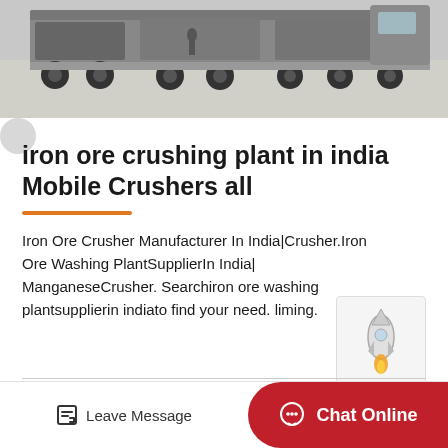[Figure (photo): Heavy trucks and trailers parked on a concrete lot, industrial/mining equipment transport scene]
iron ore crushing plant in india Mobile Crushers all
Iron Ore Crusher Manufacturer In India|Crusher.Iron Ore Washing PlantSupplierIn India| ManganeseCrusher. Searchiron ore washing plantsupplierin indiato find your need. liming.
[Figure (illustration): Rocket/chat bot illustration overlay icon]
Leave Message   Chat Online